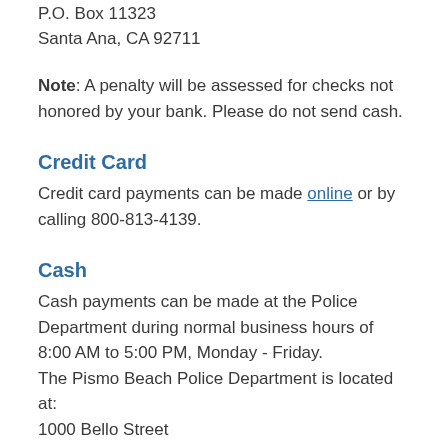P.O. Box 11323
Santa Ana, CA 92711
Note: A penalty will be assessed for checks not honored by your bank. Please do not send cash.
Credit Card
Credit card payments can be made online or by calling 800-813-4139.
Cash
Cash payments can be made at the Police Department during normal business hours of 8:00 AM to 5:00 PM, Monday - Friday.
The Pismo Beach Police Department is located at:
1000 Bello Street
Pismo Beach, CA 93449
Penalty Increase
Failure to pay fine within 21 calendar days of citation